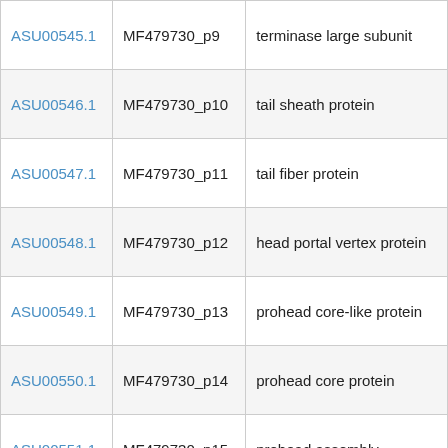| ID | Accession | Description |
| --- | --- | --- |
| ASU00545.1 | MF479730_p9 | terminase large subunit |
| ASU00546.1 | MF479730_p10 | tail sheath protein |
| ASU00547.1 | MF479730_p11 | tail fiber protein |
| ASU00548.1 | MF479730_p12 | head portal vertex protein |
| ASU00549.1 | MF479730_p13 | prohead core-like protein |
| ASU00550.1 | MF479730_p14 | prohead core protein |
| ASU00551.1 | MF479730_p15 | prohead assembly |
Showing 1 to 237 of 237 entries
[Figure (illustration): Dark purple/black background with faint white line-art illustrations of bacteriophage particles and a large white bird/plane silhouette shape in the lower right area]